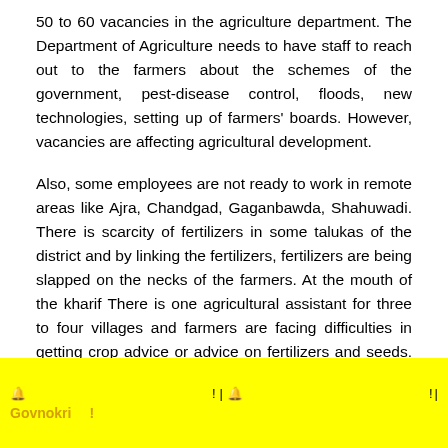50 to 60 vacancies in the agriculture department. The Department of Agriculture needs to have staff to reach out to the farmers about the schemes of the government, pest-disease control, floods, new technologies, setting up of farmers' boards. However, vacancies are affecting agricultural development.
Also, some employees are not ready to work in remote areas like Ajra, Chandgad, Gaganbawda, Shahuwadi. There is scarcity of fertilizers in some talukas of the district and by linking the fertilizers, fertilizers are being slapped on the necks of the farmers. At the mouth of the kharif There is one agricultural assistant for three to four villages and farmers are facing difficulties in getting crop advice or advice on fertilizers and seeds. It is being demanded that the government should fill the vacancies.
🔔  ! | 🔔  ! | Govnokri !